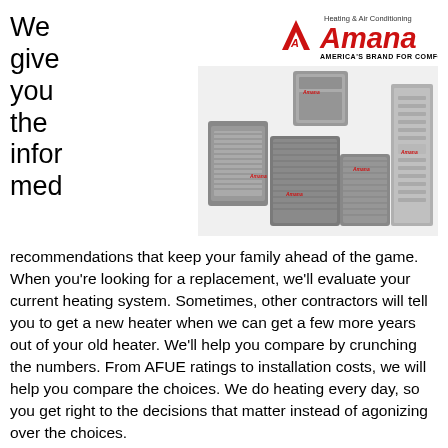We give you the informed
[Figure (photo): Multiple Amana HVAC units including outdoor condensers and an indoor furnace/air handler]
[Figure (logo): Amana Heating & Air Conditioning logo with tagline AMERICA'S BRAND FOR COMFORT]
recommendations that keep your family ahead of the game. When you're looking for a replacement, we'll evaluate your current heating system. Sometimes, other contractors will tell you to get a new heater when we can get a few more years out of your old heater. We'll help you compare by crunching the numbers. From AFUE ratings to installation costs, we will help you compare the choices. We do heating every day, so you get right to the decisions that matter instead of agonizing over the choices.
All the factors for a personalized choice
Your kids, your pets, and your health needs are important! At Van's Heating & Cooling we help you find the right